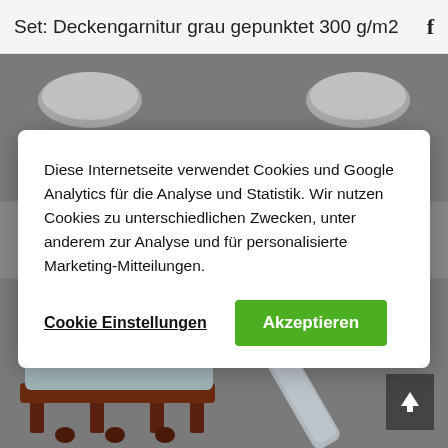Set: Deckengarnitur grau gepunktet 300 g/m2
[Figure (screenshot): Gray background with pillow/cushion product images in top area]
Diese Internetseite verwendet Cookies und Google Analytics für die Analyse und Statistik. Wir nutzen Cookies zu unterschiedlichen Zwecken, unter anderem zur Analyse und für personalisierte Marketing-Mitteilungen.
Cookie Einstellungen
Akzeptieren
[Figure (photo): Gray background with bench/cushion product and rolled fabric product images in bottom area]